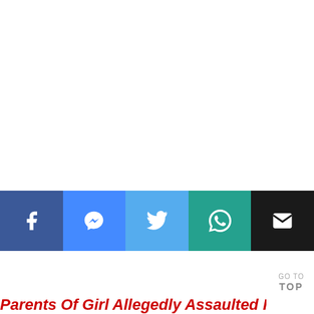[Figure (other): Social media share buttons bar: Facebook (dark blue), Messenger (blue), Twitter (light blue), WhatsApp (teal), Email (black)]
GO TO TOP
Parents Of Girl Allegedly Assaulted In Scho…